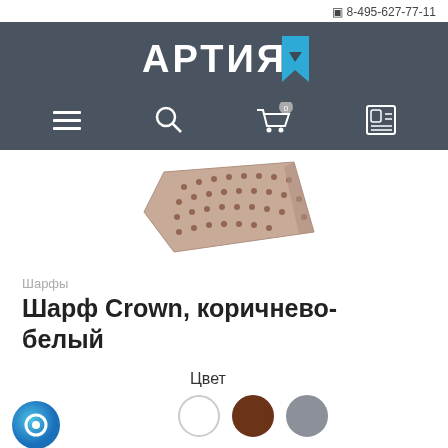☐ 8-495-627-77-11
[Figure (logo): АРТИЯ logo with blue bookmark icon on dark gray background]
[Figure (screenshot): Navigation bar with menu, search, cart (0 items), and account icons on dark gray background]
[Figure (photo): Product photo of a brown and white patterned Crown scarf laid flat]
Шарфы
Шарф Crown, коричнево-белый
Цвет
[Figure (infographic): Three color swatches: white, brown (selected), gray]
[Figure (other): Chat support bubble icon in bottom left corner]